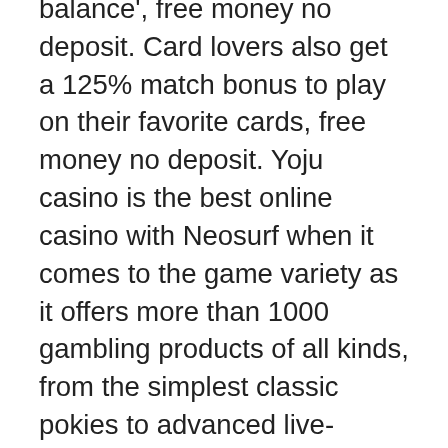balance', free money no deposit. Card lovers also get a 125% match bonus to play on their favorite cards, free money no deposit. Yoju casino is the best online casino with Neosurf when it comes to the game variety as it offers more than 1000 gambling products of all kinds, from the simplest classic pokies to advanced live-dealer games, bitcoin crush apk. Genting is an established brand in the world of gambling, largely due to its empire of land-based casinos of which there are more than 40 in the uk alone. The gambling commission issues personal and operating licences and ensures compliance with these and associated codes of practice. Speaking to genting casino, he said: “he’s (mbappe) a leader at psg. There are big talks (over his future) and big speculation - is he going. Sign up for genting casino today and you can claim your choice of welcome bonus